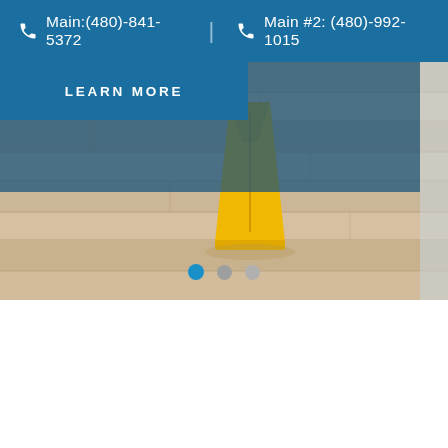Main:(480)-841-5372  |  Main #2: (480)-992-1015
[Figure (screenshot): Website screenshot showing a header bar with two phone numbers, a blue 'LEARN MORE' button overlay on a hero image of a wooden floor with a yellow wet floor caution sign, and three slider navigation dots.]